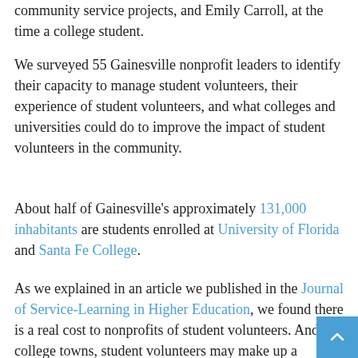community service projects, and Emily Carroll, at the time a college student.
We surveyed 55 Gainesville nonprofit leaders to identify their capacity to manage student volunteers, their experience of student volunteers, and what colleges and universities could do to improve the impact of student volunteers in the community.
About half of Gainesville's approximately 131,000 inhabitants are students enrolled at University of Florida and Santa Fe College.
As we explained in an article we published in the Journal of Service-Learning in Higher Education, we found there is a real cost to nonprofits of student volunteers. And, in college towns, student volunteers may make up a disproportionate percentage of the total volunteers. Ultimately, students are not